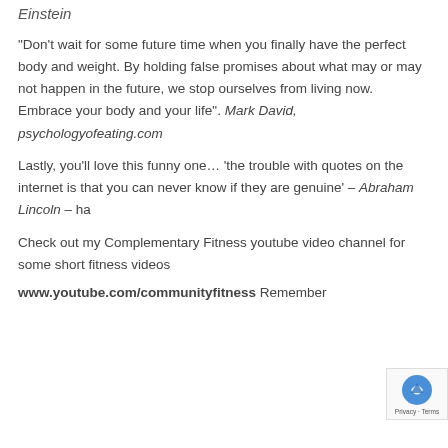Einstein
“Don’t wait for some future time when you finally have the perfect body and weight. By holding false promises about what may or may not happen in the future, we stop ourselves from living now. Embrace your body and your life”. Mark David, psychologyofeating.com
Lastly, you’ll love this funny one… ‘the trouble with quotes on the internet is that you can never know if they are genuine’ – Abraham Lincoln – ha
Check out my Complementary Fitness youtube video channel for some short fitness videos
www.youtube.com/communityfitness Remember